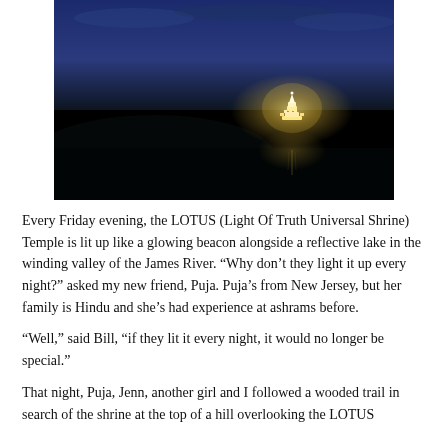[Figure (photo): Night photograph of the LOTUS Temple (Light Of Truth Universal Shrine) glowing brilliantly against a dark sky with twilight blue at the top. The temple structure is illuminated in gold/white light, reflected in a lake below, surrounded by dark landscape.]
Every Friday evening, the LOTUS (Light Of Truth Universal Shrine) Temple is lit up like a glowing beacon alongside a reflective lake in the winding valley of the James River. “Why don’t they light it up every night?” asked my new friend, Puja. Puja’s from New Jersey, but her family is Hindu and she’s had experience at ashrams before.
“Well,” said Bill, “if they lit it every night, it would no longer be special.”
That night, Puja, Jenn, another girl and I followed a wooded trail in search of the shrine at the top of a hill overlooking the LOTUS...